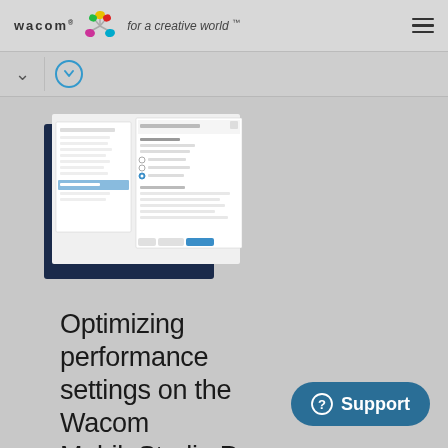wacom · for a creative world™
[Figure (screenshot): Wacom MobileStudio Pro settings dialog screenshot showing performance configuration panels on a dark navy background]
Optimizing performance settings on the Wacom MobileStudio Pro